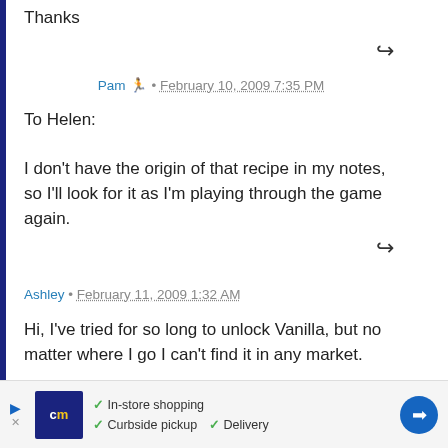Thanks
Pam · February 10, 2009 7:35 PM
To Helen:

I don't have the origin of that recipe in my notes, so I'll look for it as I'm playing through the game again.
Ashley · February 11, 2009 1:32 AM
Hi, I've tried for so long to unlock Vanilla, but no matter where I go I can't find it in any market.
[Figure (infographic): Advertisement banner with store logo showing CM, checkmarks for In-store shopping, Curbside pickup, Delivery, and a blue arrow direction icon]